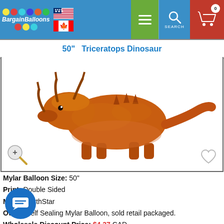BargainBalloons navigation bar with logo, US and Canada flags, hamburger menu, search button, and cart
50" Triceratops Dinosaur
[Figure (photo): Inflated orange-brown Triceratops dinosaur mylar balloon with horns, shown in profile on white background. Zoom icon at bottom-left, heart icon at bottom-right.]
Mylar Balloon Size: 50"
Print: Double Sided
Make: NorthStar
Other: Self Sealing Mylar Balloon, sold retail packaged.
Wholesale Discount Price: $4.37 CAD
Code: 64079